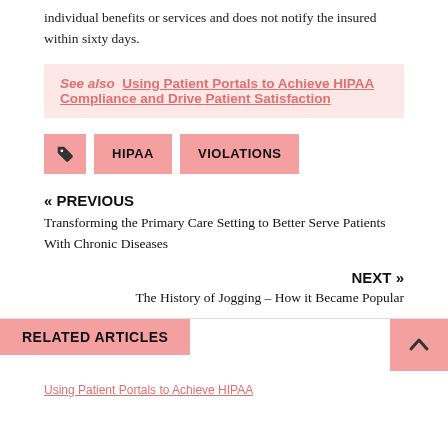individual benefits or services and does not notify the insured within sixty days.
See also  Using Patient Portals to Achieve HIPAA Compliance and Drive Patient Satisfaction
HIPAA
VIOLATIONS
« PREVIOUS
Transforming the Primary Care Setting to Better Serve Patients With Chronic Diseases
NEXT »
The History of Jogging – How it Became Popular
RELATED ARTICLES